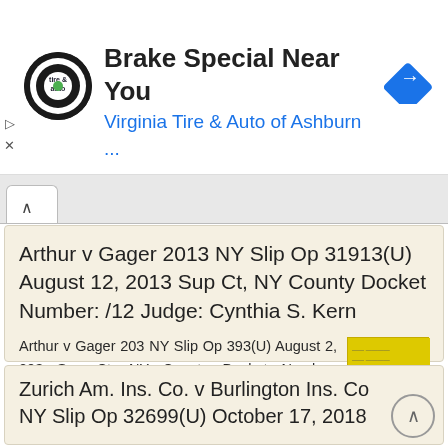[Figure (screenshot): Advertisement banner for Virginia Tire & Auto of Ashburn with logo, title 'Brake Special Near You', subtitle 'Virginia Tire & Auto of Ashburn ...', and navigation icon]
Arthur v Gager 2013 NY Slip Op 31913(U) August 12, 2013 Sup Ct, NY County Docket Number: /12 Judge: Cynthia S. Kern
Arthur v Gager 203 NY Slip Op 393(U) August 2, 203 Sup Ct, NY County Docket Number: 652452/2 Judge: Cynthia S. Kern Republished from New York State Unified Court System's E-Courts Service. Search E-Courts
More information →
Zurich Am. Ins. Co. v Burlington Ins. Co NY Slip Op 32699(U) October 17, 2018